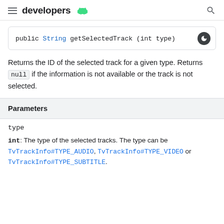developers
public String getSelectedTrack (int type)
Returns the ID of the selected track for a given type. Returns null if the information is not available or the track is not selected.
| Parameters |
| --- |
| type | int: The type of the selected tracks. The type can be TvTrackInfo#TYPE_AUDIO, TvTrackInfo#TYPE_VIDEO or TvTrackInfo#TYPE_SUBTITLE. |
int: The type of the selected tracks. The type can be TvTrackInfo#TYPE_AUDIO, TvTrackInfo#TYPE_VIDEO or TvTrackInfo#TYPE_SUBTITLE.